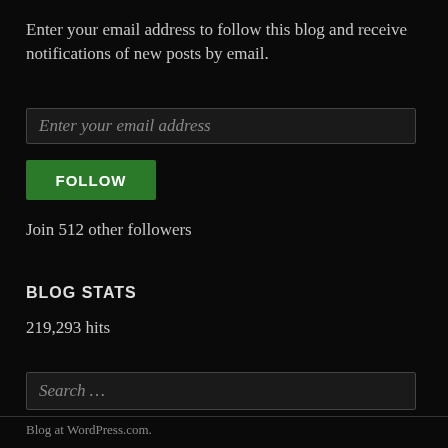Enter your email address to follow this blog and receive notifications of new posts by email.
Enter your email address
FOLLOW
Join 512 other followers
BLOG STATS
219,293 hits
Search …
Blog at WordPress.com.